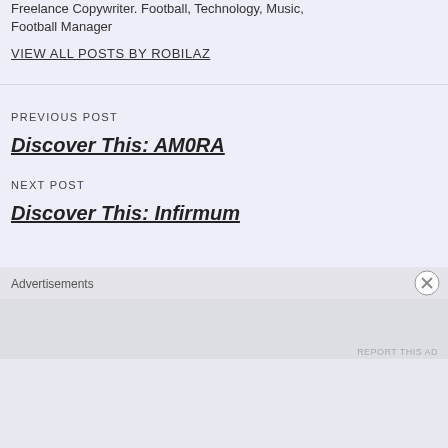Freelance Copywriter. Football, Technology, Music, Football Manager
VIEW ALL POSTS BY ROBILAZ
PREVIOUS POST
Discover This: AM0RA
NEXT POST
Discover This: Infirmum
Advertisements
REPORT THIS AD